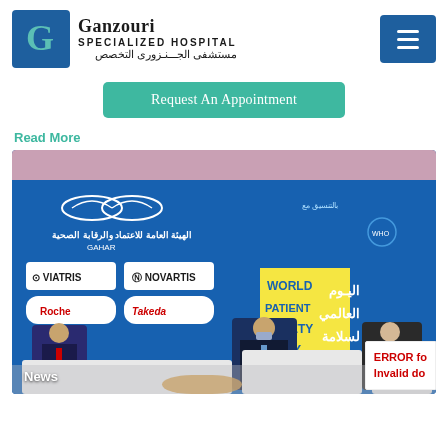[Figure (logo): Ganzouri Specialized Hospital logo with 'G' icon in teal/blue, text in English and Arabic]
Request An Appointment
Read More
[Figure (photo): World Patient Safety Day conference panel event with GAHAR and sponsor logos (Viatris, Novartis, Roche, Takeda) on a blue backdrop. Three panelists seated on stage wearing masks. Text: WORLD PATIENT SAFETY DAY in English and Arabic. News label at bottom left. Error badge at bottom right reading ERROR for Invalid do]
News
ERROR fo
Invalid do